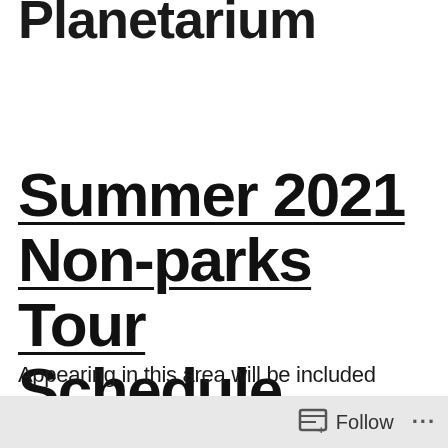Planetarium
Summer 2021 Non-parks Tour Schedule
Appearing in this area will be included
Follow ...